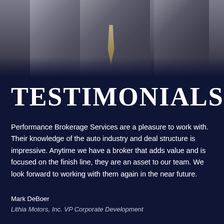[Figure (photo): Grayscale photo of men in business suits]
TESTIMONIALS
Performance Brokerage Services are a pleasure to work with. Their knowledge of the auto industry and deal structure is impressive. Anytime we have a broker that adds value and is focused on the finish line, they are an asset to our team. We look forward to working with them again in the near future.
Mark DeBoer
Lithia Motors, Inc. VP Corporate Development